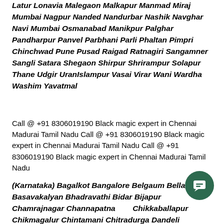Latur Lonavia Malegaon Malkapur Manmad Miraj Mumbai Nagpur Nanded Nandurbar Nashik Navghar Navi Mumbai Osmanabad Manikpur Palghar Pandharpur Panvel Parbhani Parli Phaltan Pimpri Chinchwad Pune Pusad Raigad Ratnagiri Sangamner Sangli Satara Shegaon Shirpur Shrirampur Solapur Thane Udgir UranIslampur Vasai Virar Wani Wardha Washim Yavatmal
Call @ +91 8306019190 Black magic expert in Chennai Madurai Tamil Nadu Call @ +91 8306019190 Black magic expert in Chennai Madurai Tamil Nadu Call @ +91 8306019190 Black magic expert in Chennai Madurai Tamil Nadu
(Karnataka) Bagalkot Bangalore Belgaum Bellary Basavakalyan Bhadravathi Bidar Bijapur Chamrajnagar Channapatna Chikkaballapur Chikmagalur Chintamani Chitradurga Dandeli
[Figure (other): Green circular chat/message button icon in the bottom right corner]